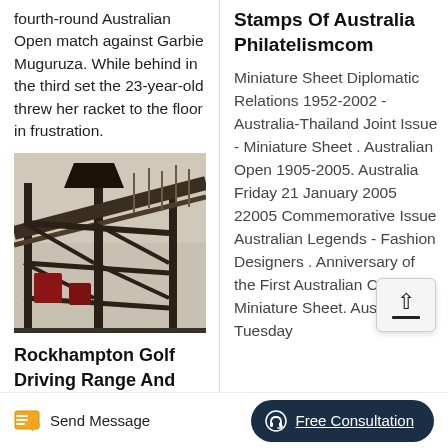fourth-round Australian Open match against Garbie Muguruza. While behind in the third set the 23-year-old threw her racket to the floor in frustration.
[Figure (photo): Industrial or mining machinery structure with metal framework, conveyors, and equipment photographed outdoors with bare trees in background]
Rockhampton Golf Driving Range And
Stamps Of Australia Philatelismcom
Miniature Sheet Diplomatic Relations 1952-2002 - Australia-Thailand Joint Issue - Miniature Sheet . Australian Open 1905-2005. Australia Friday 21 January 2005 22005 Commemorative Issue Australian Legends - Fashion Designers . Anniversary of the First Australian Coin - Miniature Sheet. Australia Tuesday
Send Message
Free Consultation